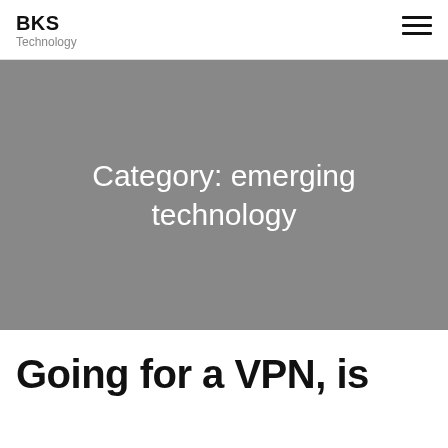BKS Technology
Category: emerging technology
Going for a VPN, is